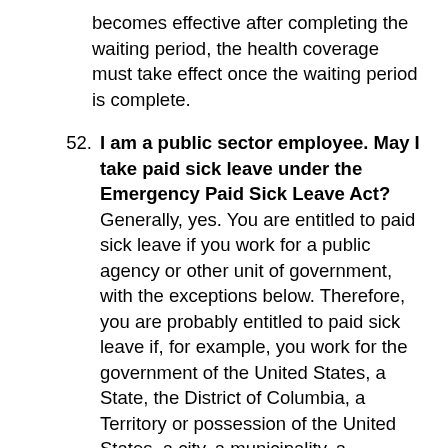becomes effective after completing the waiting period, the health coverage must take effect once the waiting period is complete.
52. I am a public sector employee. May I take paid sick leave under the Emergency Paid Sick Leave Act? Generally, yes. You are entitled to paid sick leave if you work for a public agency or other unit of government, with the exceptions below. Therefore, you are probably entitled to paid sick leave if, for example, you work for the government of the United States, a State, the District of Columbia, a Territory or possession of the United States, a city, a municipality, a